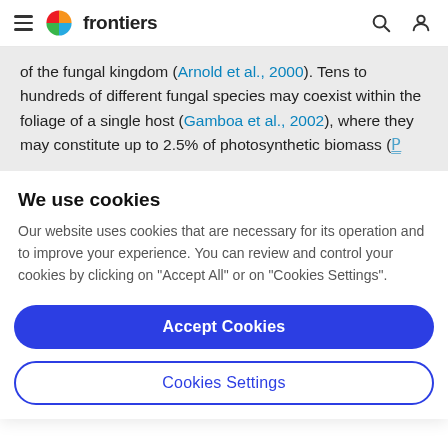frontiers
of the fungal kingdom (Arnold et al., 2000). Tens to hundreds of different fungal species may coexist within the foliage of a single host (Gamboa et al., 2002), where they may constitute up to 2.5% of photosynthetic biomass (Pennisi et al., 2009). Unlike most bacteria, which...
We use cookies
Our website uses cookies that are necessary for its operation and to improve your experience. You can review and control your cookies by clicking on "Accept All" or on "Cookies Settings".
Accept Cookies
Cookies Settings